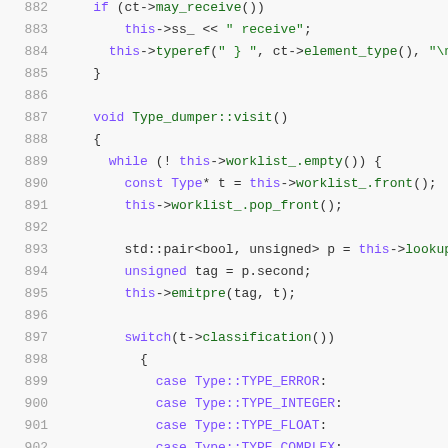[Figure (screenshot): Source code listing showing C++ code lines 882-903 with syntax highlighting. Line numbers in gray on the left, code with purple keywords, green strings/methods, and dark text for other elements.]